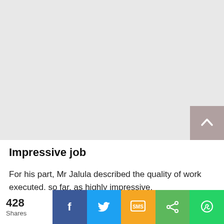[Figure (photo): Large light gray placeholder image area with a back-to-top button (pinkish-gray square with upward chevron) in the bottom-right corner]
Impressive job
For his part, Mr Jalula described the quality of work executed, so far, as highly impressive.
[Figure (photo): Partial image showing trees/greenery at the bottom of the content area]
428 Shares